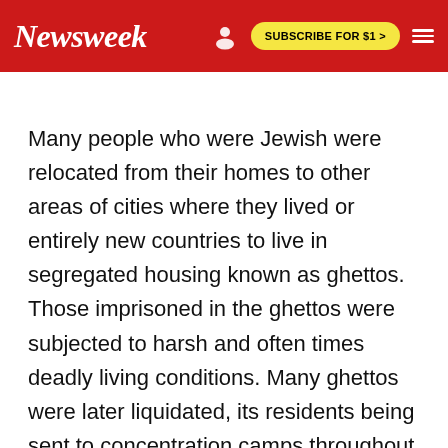Newsweek | SUBSCRIBE FOR $1 >
Many people who were Jewish were relocated from their homes to other areas of cities where they lived or entirely new countries to live in segregated housing known as ghettos. Those imprisoned in the ghettos were subjected to harsh and often times deadly living conditions. Many ghettos were later liquidated, its residents being sent to concentration camps throughout Europe.